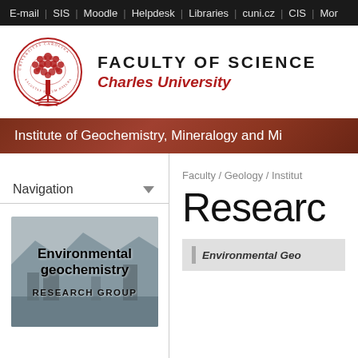E-mail | SIS | Moodle | Helpdesk | Libraries | cuni.cz | CIS | More
[Figure (logo): Charles University Faculty of Science circular seal with tree motif]
FACULTY OF SCIENCE
Charles University
Institute of Geochemistry, Mineralogy and Mi...
Navigation
Faculty / Geology / Institut...
[Figure (photo): Environmental geochemistry - RESEARCH GROUP card with landscape photo background]
Researc...
Environmental Geo...